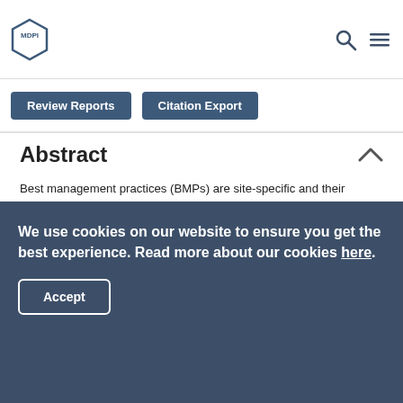MDPI - Review Reports | Citation Export
Review Reports | Citation Export
Abstract
Best management practices (BMPs) are site-specific and their implementation, long-term management, and maintenance are important for successful reduction of phosphorus (P) loss into headwater streams. This paper reviews published research on managing P loss from agricultural cropping systems in the Midwestern United States and classified the available research based on BMPs and their efficacy in reducing P loss. This review paper also identifies
We use cookies on our website to ensure you get the best experience. Read more about our cookies here.
Accept